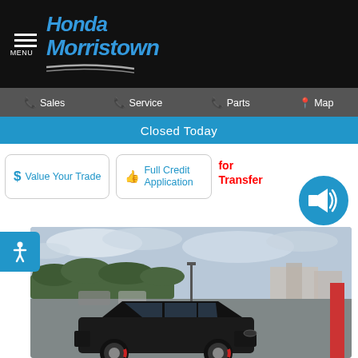Honda Morristown - MENU
Sales | Service | Parts | Map
Closed Today
$ Value Your Trade
Full Credit Application
for Transfer
[Figure (photo): Black SUV (Porsche Cayenne) in a dealership parking lot with cloudy sky background]